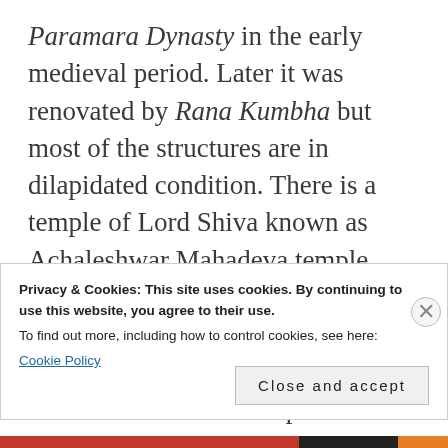Paramara Dynasty in the early medieval period. Later it was renovated by Rana Kumbha but most of the structures are in dilapidated condition. There is a temple of Lord Shiva known as Achaleshwar Mahadeva temple where devotees still offer worship regularly. The taxis (jeeps) to Achalgarh are available from the stand near Dilwara Temple. Each taxi carries 6–8 passengers and fare is Rs 800
Privacy & Cookies: This site uses cookies. By continuing to use this website, you agree to their use.
To find out more, including how to control cookies, see here:
Cookie Policy